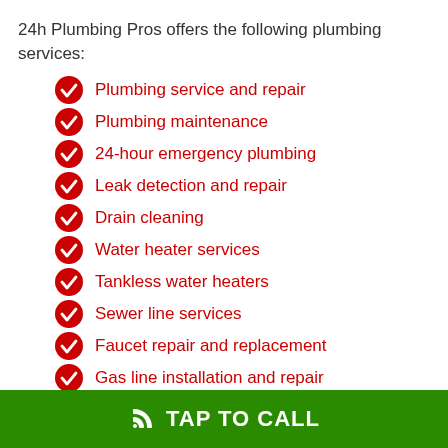24h Plumbing Pros offers the following plumbing services:
Plumbing service and repair
Plumbing maintenance
24-hour emergency plumbing
Leak detection and repair
Drain cleaning
Water heater services
Tankless water heaters
Sewer line services
Faucet repair and replacement
Gas line installation and repair
Toilet installation & repair
TAP TO CALL